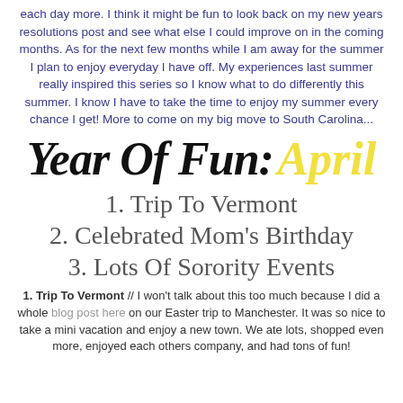each day more. I think it might be fun to look back on my new years resolutions post and see what else I could improve on in the coming months. As for the next few months while I am away for the summer I plan to enjoy everyday I have off. My experiences last summer really inspired this series so I know what to do differently this summer. I know I have to take the time to enjoy my summer every chance I get! More to come on my big move to South Carolina...
Year Of Fun: April
1. Trip To Vermont
2. Celebrated Mom's Birthday
3. Lots Of Sorority Events
1. Trip To Vermont // I won't talk about this too much because I did a whole blog post here on our Easter trip to Manchester. It was so nice to take a mini vacation and enjoy a new town. We ate lots, shopped even more, enjoyed each others company, and had tons of fun!